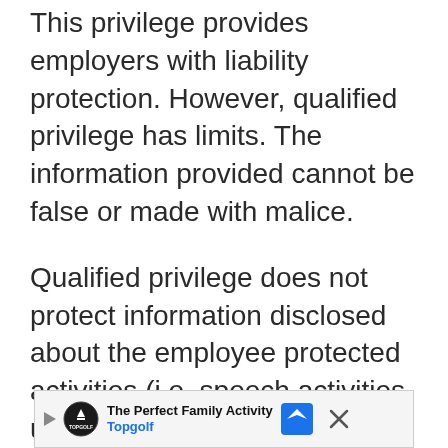This privilege provides employers with liability protection. However, qualified privilege has limits. The information provided cannot be false or made with malice.
Qualified privilege does not protect information disclosed about the employee protected activities (i.e. speech activities, union, etc.). Nor does it protect information disclosed that is a breach of contract between a former employer and employee (i.e. non-disparagement clause).